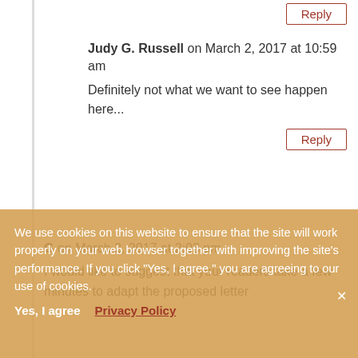Reply
Judy G. Russell on March 2, 2017 at 10:59 am
Definitely not what we want to see happen here...
Reply
G on March 2, 2017 at 2:03 pm
I would like to suggest that your readers take a few minutes to adapt the proposed letter suggested by the genealogy society to make it their own. Politicians tend to give more weight to letters that show the writer cares enough about the issue to have written their own personal thoughts and they discourage form letter or show signs of having been copied and sent as part of a mass
We use cookies on this website to ensure that the site will work properly on your web browser together with improving the site's performance. If you click "Yes, I agree," you are agreeing to our use of cookies.
Yes, I agree   Privacy Policy